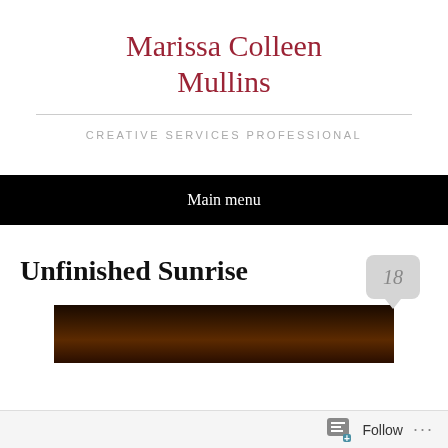Marissa Colleen Mullins
CREATIVE SERVICES PROFESSIONAL
Main menu
Unfinished Sunrise
[Figure (photo): Dark forest/sunrise photograph with warm amber and brown tones]
Follow